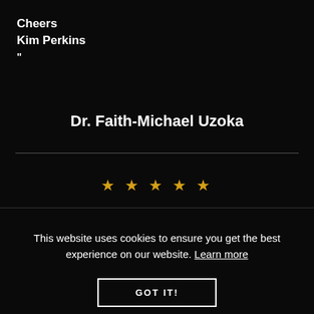Cheers
Kim Perkins
"
Dr. Faith-Michael Uzoka
[Figure (other): Five gold star rating icons in a row]
This website uses cookies to ensure you get the best experience on our website. Learn more
GOT IT!